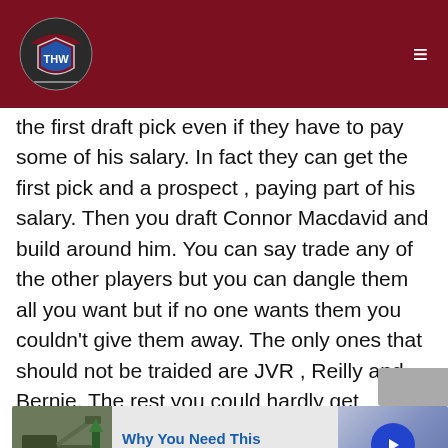THW logo and navigation header
the first draft pick even if they have to pay some of his salary. In fact they can get the first pick and a prospect , paying part of his salary. Then you draft Connor Macdavid and build around him. You can say trade any of the other players but you can dangle them all you want but if no one wants them you couldn't give them away. The only ones that should not be traided are JVR , Reilly and Bernie. The rest you could hardly get anything for them. This way you would have a very good prospective centre , a very good winger and a up and coming defenceman , then some of the other's might fit in. Thats just the way I see it , then maybe Leaf fans would have something to cheer about.
[Figure (screenshot): Advertisement banner: 'Why You Need This' with vehicle image on left, blue circle arrow button on right, 'n/a' subtitle]